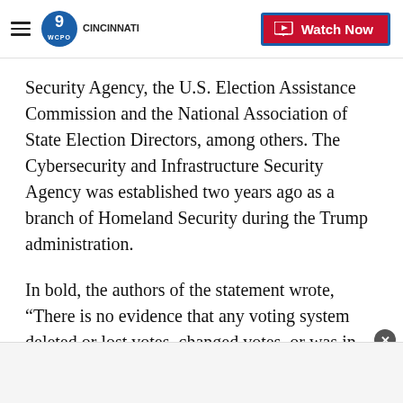WCPO 9 Cincinnati — Watch Now
Security Agency, the U.S. Election Assistance Commission and the National Association of State Election Directors, among others. The Cybersecurity and Infrastructure Security Agency was established two years ago as a branch of Homeland Security during the Trump administration.
In bold, the authors of the statement wrote, “There is no evidence that any voting system deleted or lost votes, changed votes, or was in any way compromised.” This statement matches those from